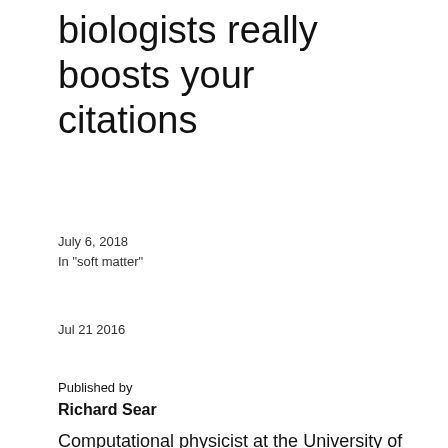biologists really boosts your citations
July 6, 2018
In "soft matter"
Jul 21 2016
Published by
Richard Sear
Computational physicist at the University of Surrey. My research interests are in COVID-19 transmission, especially masks, soft matter &